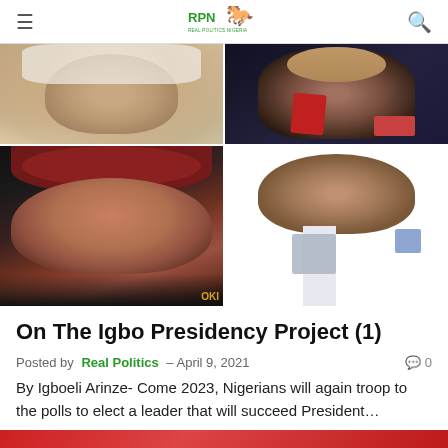RPN Real Politics Nigeria
[Figure (photo): Collage of four Nigerian political figures in a 2x2 grid layout]
On The Igbo Presidency Project (1)
Posted by Real Politics – April 9, 2021
By Igboeli Arinze- Come 2023, Nigerians will again troop to the polls to elect a leader that will succeed President…
[Figure (photo): Partial view of another article's featured image at the bottom of the page]